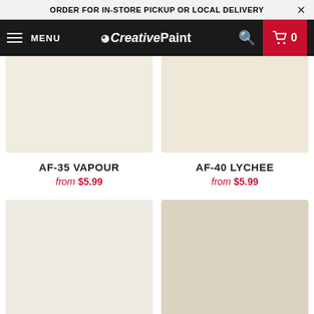ORDER FOR IN-STORE PICKUP OR LOCAL DELIVERY
[Figure (screenshot): Creative Paint website navigation bar with menu, logo, search, and cart (0)]
[Figure (illustration): AF-35 VAPOUR paint color swatch - light cream/off-white color]
AF-35 VAPOUR
from $5.99
[Figure (illustration): AF-40 LYCHEE paint color swatch - warm light beige/cream color]
AF-40 LYCHEE
from $5.99
[Figure (illustration): Third paint color swatch - very light warm white color]
[Figure (illustration): Fourth paint color swatch - warm beige/tan color]